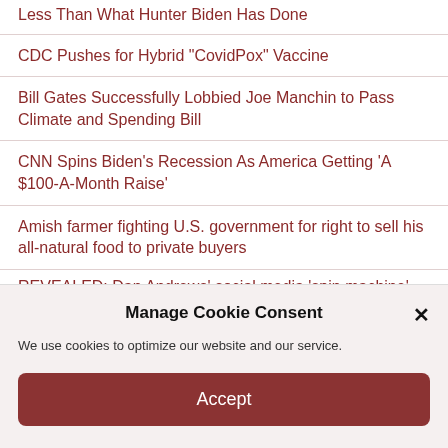Less Than What Hunter Biden Has Done
CDC Pushes for Hybrid "CovidPox" Vaccine
Bill Gates Successfully Lobbied Joe Manchin to Pass Climate and Spending Bill
CNN Spins Biden's Recession As America Getting 'A $100-A-Month Raise'
Amish farmer fighting U.S. government for right to sell his all-natural food to private buyers
REVEALED: Dan Andrews' social media 'spin machine' spends big
Manage Cookie Consent
We use cookies to optimize our website and our service.
Accept